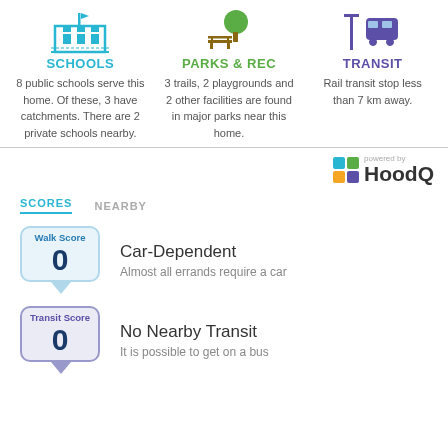[Figure (infographic): Schools icon: blue building/city hall icon]
SCHOOLS
8 public schools serve this home. Of these, 3 have catchments. There are 2 private schools nearby.
[Figure (infographic): Parks & Rec icon: green bench and tree icon]
PARKS & REC
3 trails, 2 playgrounds and 2 other facilities are found in major parks near this home.
[Figure (infographic): Transit icon: purple bus stop / transit icon]
TRANSIT
Rail transit stop less than 7 km away.
[Figure (logo): HoodQ logo with 'powered by' text]
SCORES	NEARBY
Walk Score 0
Car-Dependent
Almost all errands require a car
Transit Score 0
No Nearby Transit
It is possible to get on a bus